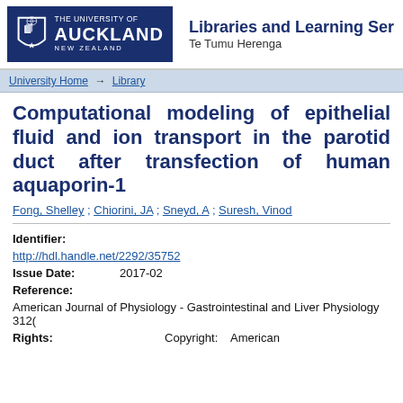[Figure (logo): University of Auckland logo with Libraries and Learning Services / Te Tumu Herenga header]
University Home → Library
Computational modeling of epithelial fluid and ion transport in the parotid duct after transfection of human aquaporin-1
Fong, Shelley ; Chiorini, JA ; Sneyd, A ; Suresh, Vinod
Identifier:
http://hdl.handle.net/2292/35752
Issue Date: 2017-02
Reference:
American Journal of Physiology - Gastrointestinal and Liver Physiology 312(
Rights: Copyright: American